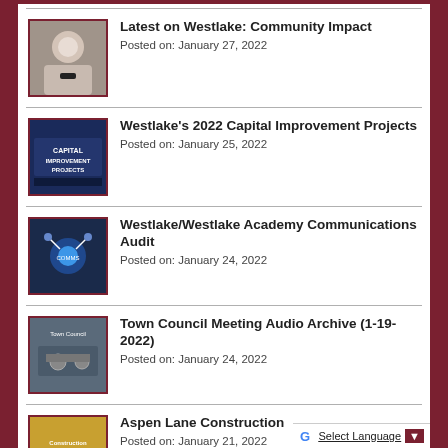Latest on Westlake: Community Impact
Posted on: January 27, 2022
Westlake's 2022 Capital Improvement Projects
Posted on: January 25, 2022
Westlake/Westlake Academy Communications Audit
Posted on: January 24, 2022
Town Council Meeting Audio Archive (1-19-2022)
Posted on: January 24, 2022
Aspen Lane Construction
Posted on: January 21, 2022
Select Language